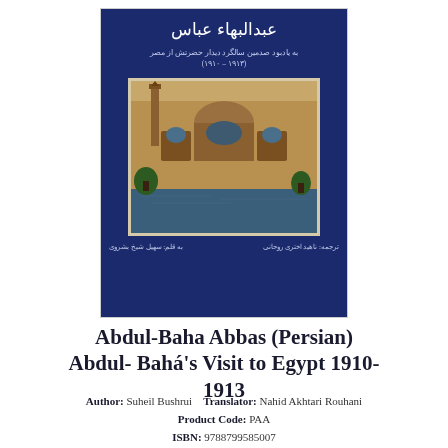[Figure (illustration): Book cover with dark navy blue background, Arabic/Persian title text at top, a photograph of an Egyptian mosque/architectural scene in the center, and author/translator credits in Persian at the bottom.]
Abdul-Baha Abbas (Persian) Abdul- Bahá's Visit to Egypt 1910-1913
Author: Suheil Bushrui   Translator: Nahid Akhtari Rouhani
Product Code: PAA
ISBN: 9788799585007
Publisher: Yaran Publishers